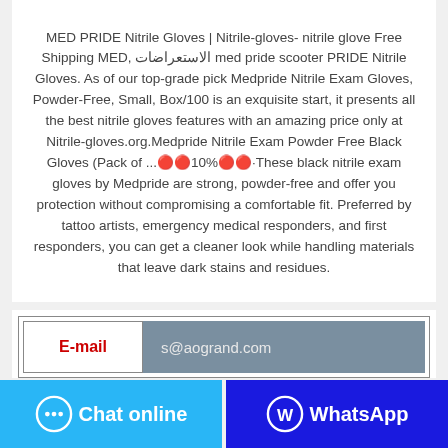MED PRIDE Nitrile Gloves | Nitrile-gloves- nitrile glove Free Shipping MED, الاستعراضات med pride scooter PRIDE Nitrile Gloves. As of our top-grade pick Medpride Nitrile Exam Gloves, Powder-Free, Small, Box/100 is an exquisite start, it presents all the best nitrile gloves features with an amazing price only at Nitrile-gloves.org.Medpride Nitrile Exam Powder Free Black Gloves (Pack of ...🔴🔴10%🔴🔴·These black nitrile exam gloves by Medpride are strong, powder-free and offer you protection without compromising a comfortable fit. Preferred by tattoo artists, emergency medical responders, and first responders, you can get a cleaner look while handling materials that leave dark stains and residues.
| E-mail |  |
| --- | --- |
| E-mail | s@aogrand.com |